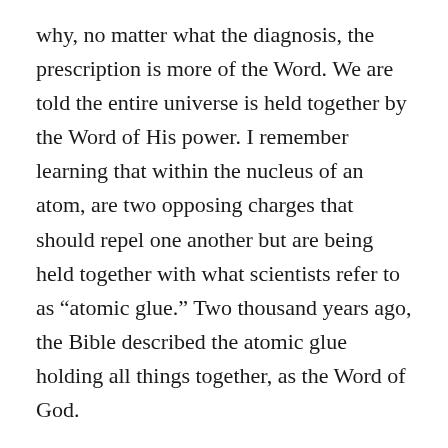why, no matter what the diagnosis, the prescription is more of the Word. We are told the entire universe is held together by the Word of His power. I remember learning that within the nucleus of an atom, are two opposing charges that should repel one another but are being held together with what scientists refer to as “atomic glue.” Two thousand years ago, the Bible described the atomic glue holding all things together, as the Word of God.
The reason we prescribe the Word to be ingested daily, is because there is no substance in the universe which carries the kind of power that the Word of God does. It has the power to reveal to the sinner their need for a Savior, leading them to Christ. It has the power to transform the life of the struggling Christian, giving him strength to withstand temptation, and follow after Jesus. It has the